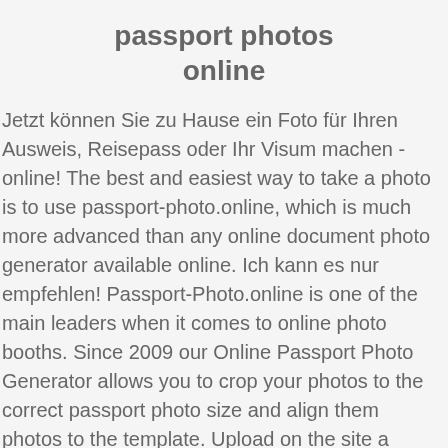passport photos online
Jetzt können Sie zu Hause ein Foto für Ihren Ausweis, Reisepass oder Ihr Visum machen - online! The best and easiest way to take a photo is to use passport-photo.online, which is much more advanced than any online document photo generator available online. Ich kann es nur empfehlen! Passport-Photo.online is one of the main leaders when it comes to online photo booths. Since 2009 our Online Passport Photo Generator allows you to crop your photos to the correct passport photo size and align them photos to the template. Upload on the site a photo of you, result from the camera of your smartphone, webcam, camera or a scanning of a … Ich bin durch Zufall auf diese Seite gestoßen und habe in nur 3 Minuten ein Foto für meinen Personalausweis gemacht. Wir kennen die genauen Anforderungen für alle Arten von Fotos. Obviously, the digital